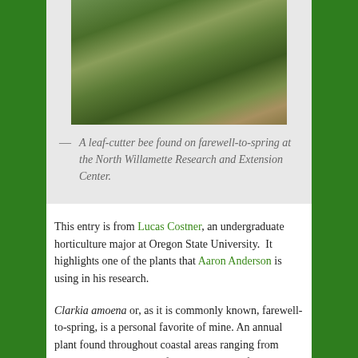[Figure (photo): A leaf-cutter bee found on farewell-to-spring at the North Willamette Research and Extension Center. Close-up photo of green foliage with small leaves.]
A leaf-cutter bee found on farewell-to-spring at the North Willamette Research and Extension Center.
This entry is from Lucas Costner, an undergraduate horticulture major at Oregon State University.  It highlights one of the plants that Aaron Anderson is using in his research.
Clarkia amoena or, as it is commonly known, farewell-to-spring, is a personal favorite of mine. An annual plant found throughout coastal areas ranging from British Columbia to California, the showy farewell-to-spring offers color, structure, and a lengthy bloom time for a variety of uses in the garden (1, 2). It is hardy from USDA zones 2